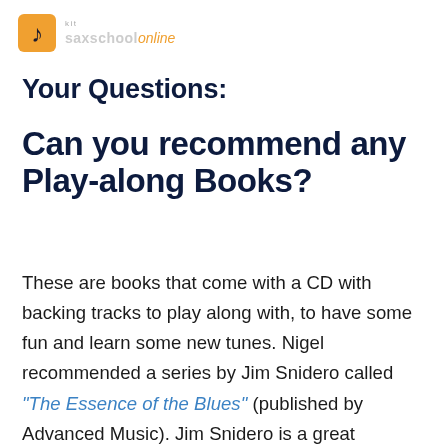[Figure (logo): Saxophone icon logo with orange/yellow square background and text 'kit saxschool online' where 'online' is in orange italic]
Your Questions:
Can you recommend any Play-along Books?
These are books that come with a CD with backing tracks to play along with, to have some fun and learn some new tunes. Nigel recommended a series by Jim Snidero called "The Essence of the Blues" (published by Advanced Music). Jim Snidero is a great American Jazz educator. Jim has written songs